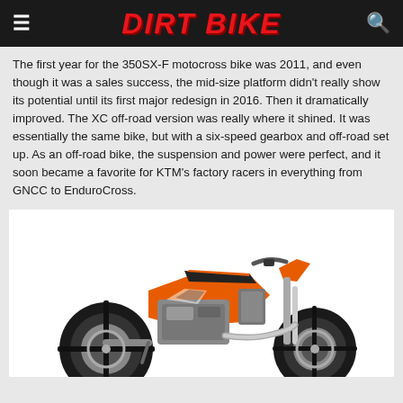DIRT BIKE
The first year for the 350SX-F motocross bike was 2011, and even though it was a sales success, the mid-size platform didn't really show its potential until its first major redesign in 2016. Then it dramatically improved. The XC off-road version was really where it shined. It was essentially the same bike, but with a six-speed gearbox and off-road set up. As an off-road bike, the suspension and power were perfect, and it soon became a favorite for KTM's factory racers in everything from GNCC to EnduroCross.
[Figure (photo): KTM 350SX-F orange and black off-road/motocross dirt bike, side profile view on white background]